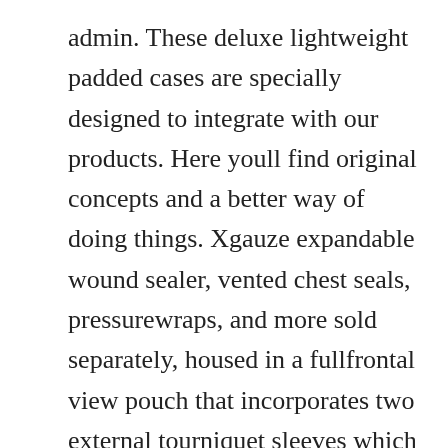admin. These deluxe lightweight padded cases are specially designed to integrate with our products. Here youll find original concepts and a better way of doing things. Xgauze expandable wound sealer, vented chest seals, pressurewraps, and more sold separately, housed in a fullfrontal view pouch that incorporates two external tourniquet sleeves which double as 5. Eberlestock are specialists in military and hunting packs with integrated weapon carriage solutions including long barrel rifles, shotguns and bow hunting